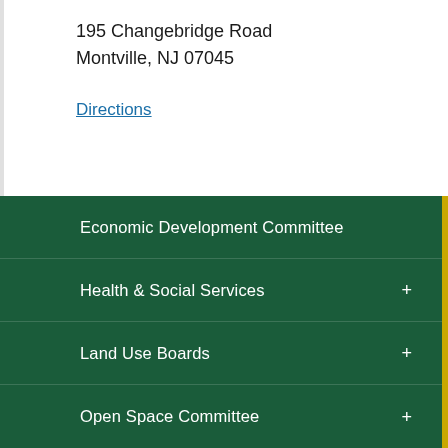195 Changebridge Road
Montville, NJ 07045
Directions
Economic Development Committee
Health & Social Services
Land Use Boards
Open Space Committee